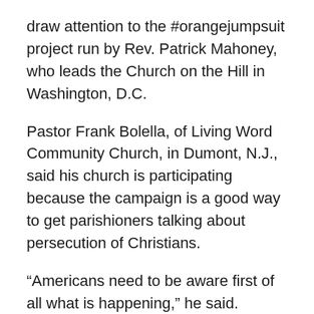draw attention to the #orangejumpsuit project run by Rev. Patrick Mahoney, who leads the Church on the Hill in Washington, D.C.
Pastor Frank Bolella, of Living Word Community Church, in Dumont, N.J., said his church is participating because the campaign is a good way to get parishioners talking about persecution of Christians.
“Americans need to be aware first of all what is happening,” he said.
One congregant, John Estrada, said wearing orange made him feel like he was taking action.